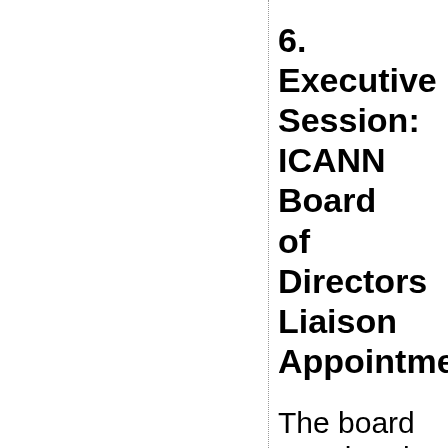6. Executive Session: ICANN Board of Directors Liaison Appointment
The board appointed the Liaison to the ICANN Board of Directors in an Executive Session. Russ